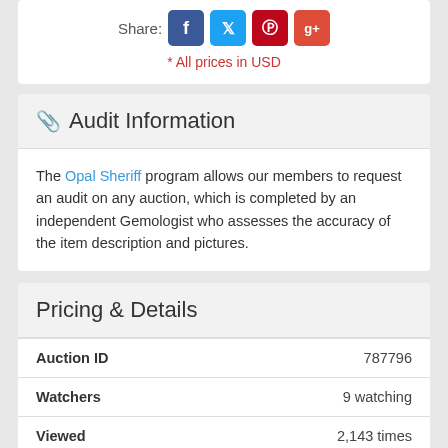Share: [Facebook] [Twitter] [Pinterest] [Google+]
* All prices in USD
Audit Information
The Opal Sheriff program allows our members to request an audit on any auction, which is completed by an independent Gemologist who assesses the accuracy of the item description and pictures.
Pricing & Details
| Field | Value |
| --- | --- |
| Auction ID | 787796 |
| Watchers | 9 watching |
| Viewed | 2,143 times |
| Starts | 3rd Jun 2019 7:53am PDT |